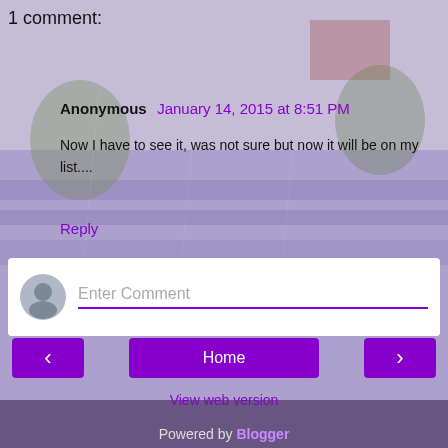1 comment:
Anonymous January 14, 2015 at 8:51 PM
Now I have to see it, was not sure but now it will be on my list....
Reply
Enter Comment
Home
View web version
Powered by Blogger